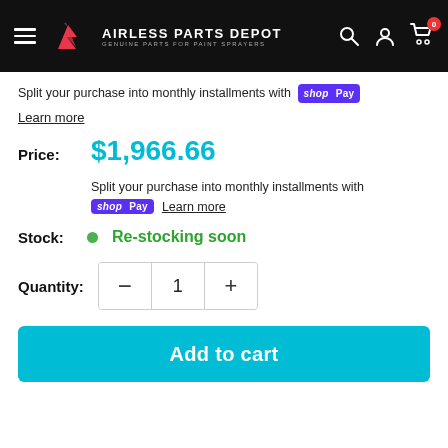AIRLESS PARTS DEPOT — GENUINE PARTS FOR PAINT SPRAYERS
Split your purchase into monthly installments with shop Pay
Learn more
Price: $1,966.66
Split your purchase into monthly installments with shop Pay Learn more
Stock: Re-stocking soon
Quantity: 1
Add to cart